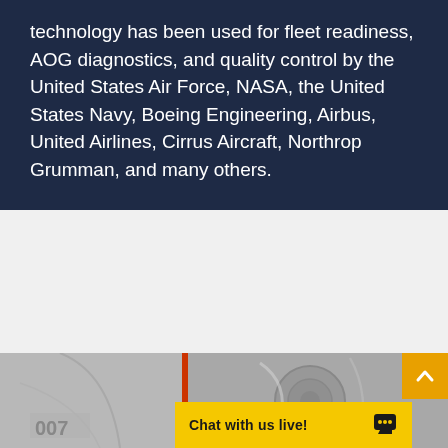technology has been used for fleet readiness, AOG diagnostics, and quality control by the United States Air Force, NASA, the United States Navy, Boeing Engineering, Airbus, United Airlines, Cirrus Aircraft, Northrop Grumman, and many others.
[Figure (photo): Grayscale photograph of aircraft components, showing part of an aircraft fuselage or engine area. A vertical orange/red stripe is visible dividing the image into two sections.]